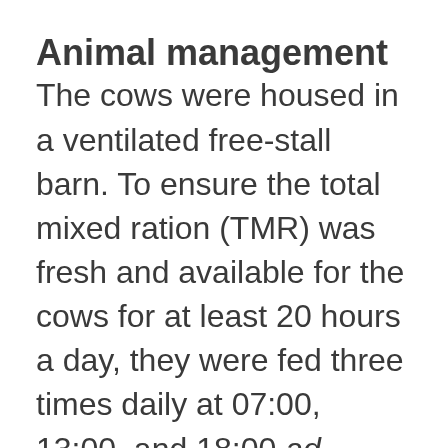Animal management
The cows were housed in a ventilated free-stall barn. To ensure the total mixed ration (TMR) was fresh and available for the cows for at least 20 hours a day, they were fed three times daily at 07:00, 13:00, and 18:00 ad libitum. Automatic